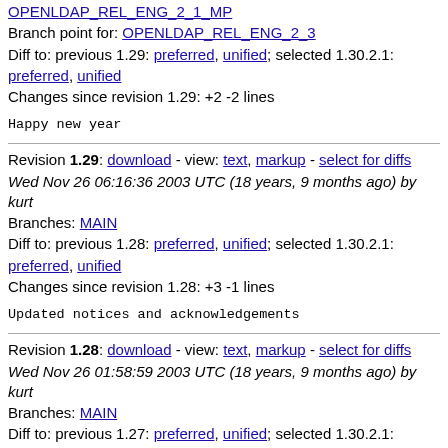OPENLDAP_REL_ENG_2_1_MP
Branch point for: OPENLDAP_REL_ENG_2_3
Diff to: previous 1.29: preferred, unified; selected 1.30.2.1: preferred, unified
Changes since revision 1.29: +2 -2 lines
Happy new year
Revision 1.29: download - view: text, markup - select for diffs
Wed Nov 26 06:16:36 2003 UTC (18 years, 9 months ago) by kurt
Branches: MAIN
Diff to: previous 1.28: preferred, unified; selected 1.30.2.1: preferred, unified
Changes since revision 1.28: +3 -1 lines
Updated notices and acknowledgements
Revision 1.28: download - view: text, markup - select for diffs
Wed Nov 26 01:58:59 2003 UTC (18 years, 9 months ago) by kurt
Branches: MAIN
Diff to: previous 1.27: preferred, unified; selected 1.30.2.1: preferred, unified
Changes since revision 1.27: +11 -4 lines
Notice/Acknowledge updates